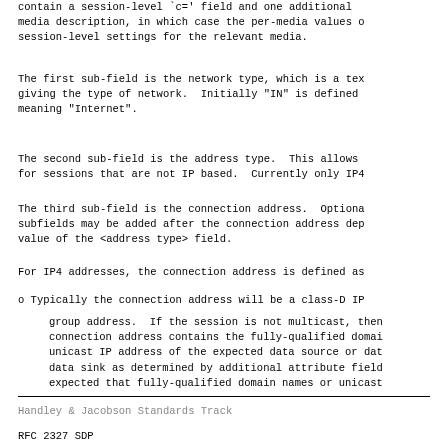contain a session-level `c=' field and one additional
media description, in which case the per-media values o
session-level settings for the relevant media.
The first sub-field is the network type, which is a tex
giving the type of network.  Initially "IN" is defined
meaning "Internet".
The second sub-field is the address type.  This allows
for sessions that are not IP based.  Currently only IP4
The third sub-field is the connection address.  Optiona
subfields may be added after the connection address dep
value of the <address type> field.
For IP4 addresses, the connection address is defined as
o  Typically the connection address will be a class-D IP
group address.  If the session is not multicast, then
   connection address contains the fully-qualified domai
   unicast IP address of the expected data source or dat
   data sink as determined by additional attribute field
   expected that fully-qualified domain names or unicast
Handley & Jacobson                Standards Track
RFC 2327                            SDP